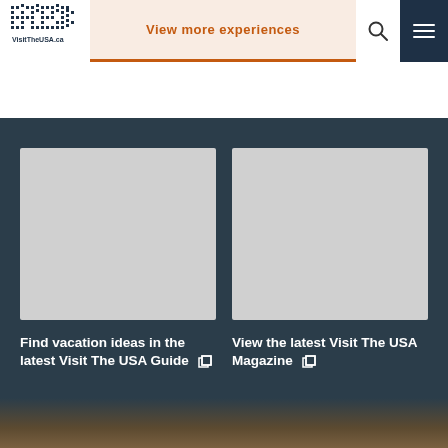[Figure (logo): VisitTheUSA.ca logo with dotted USA text pattern]
View more experiences
[Figure (screenshot): Left card placeholder image]
Find vacation ideas in the latest Visit The USA Guide
[Figure (screenshot): Right card placeholder image]
View the latest Visit The USA Magazine